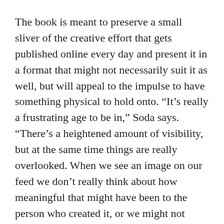The book is meant to preserve a small sliver of the creative effort that gets published online every day and present it in a format that might not necessarily suit it as well, but will appeal to the impulse to have something physical to hold onto. “It’s really a frustrating age to be in,” Soda says. “There’s a heightened amount of visibility, but at the same time things are really overlooked. When we see an image on our feed we don’t really think about how meaningful that might have been to the person who created it, or we might not really engage with it in the way that maybe we’d like for people to engage with our work.”
To read the book in full, you have to download the free augmented reality app Aurasma. Several of the